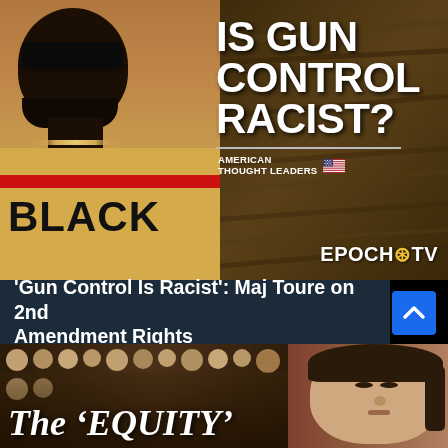[Figure (photo): Top half: promotional image for Epoch TV's 'American Thought Leaders' segment. Left side shows a Black man wearing sunglasses and a yellow shirt with 'BLACK' text and red stripe. Background shows gun rack. Right side has bold white text: 'IS GUN CONTROL RACIST?' with American Thought Leaders logo and Epoch TV branding.]
'Gun Control Is Racist': Maj Toure on 2nd Amendment Rights
[Figure (photo): Bottom promotional image showing crowd of children in background with an Asian woman visible on the right side. Text reads 'The 'EQUITY'']